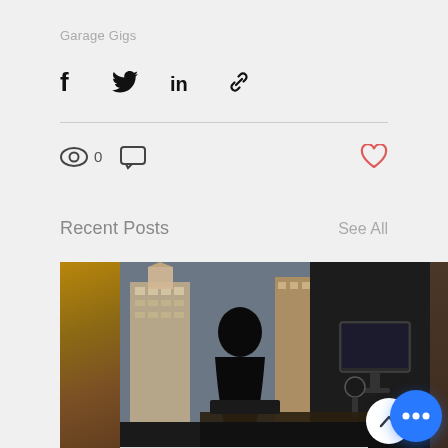Garage Gigs
[Figure (infographic): Social share icons: Facebook (f), Twitter bird, LinkedIn (in), and link/chain icon]
[Figure (infographic): Stats row: eye icon with count 0, chat bubble icon; heart icon on right]
Recent Posts
See All
[Figure (photo): A silhouetted person sitting at a desk with a microphone and monitor, city buildings visible through a window; partial images of other posts visible on left and right edges]
Enterprise knows no gender